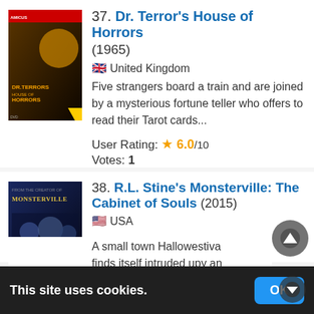37. Dr. Terror's House of Horrors (1965) United Kingdom — Five strangers board a train and are joined by a mysterious fortune teller who offers to read their Tarot cards... User Rating: 6.0/10 Votes: 1
38. R.L. Stine's Monsterville: The Cabinet of Souls (2015) USA — A small town Halloween festival finds itself intruded upon by an ...